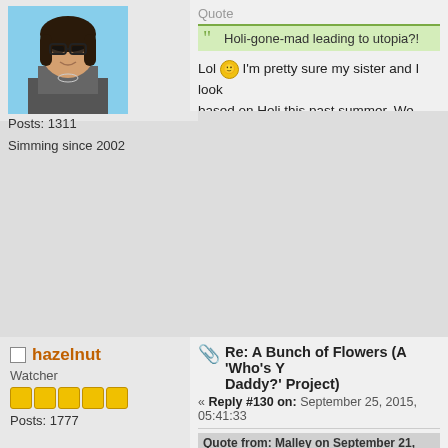[Figure (photo): Avatar of a woman with dark hair and glasses, blue background]
Posts: 1311
Simming since 2002
Quote
Holi-gone-mad leading to utopia?!
Lol I'm pretty sure my sister and I look based on Holi this past summer. We were
The Sakura 4x4-COMPLETE
Rigel Duty: A Life States Dynasty- COMPLETE
The Sakura Immortals-COMPLETE
Third Time's the Charm: A DecaDynasty-COMPL...
Grey RTJ
The Mad House-BB Challenge
Alphabet Soup-Domination Dynasty
hazelnut
Watcher
Posts: 1777
Re: A Bunch of Flowers (A 'Who's Y Daddy?' Project)
« Reply #130 on: September 25, 2015, 05:41:33
Quote from: Malley on September 21, 2015, 03:5
Quote
Holi-gone-mad leading to utopia?!